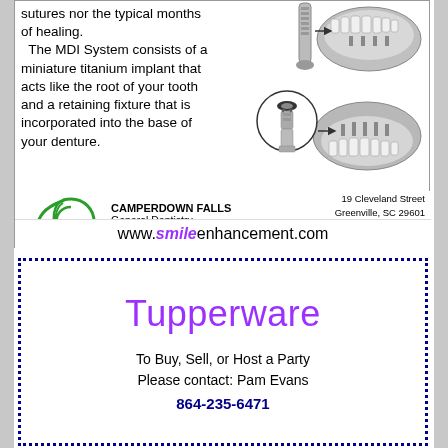sutures nor the typical months of healing. The MDI System consists of a miniature titanium implant that acts like the root of your tooth and a retaining fixture that is incorporated into the base of your denture.
[Figure (illustration): Dental implant diagram showing MDI implant screw inserted into jaw with arrows pointing to denture and connector parts]
[Figure (logo): Camperdown Falls dental practice green swirling leaf logo]
CAMPERDOWN FALLS General Dentistry Esthetics & Implants 19 Cleveland Street Greenville, SC 29601 p 864.232.6911 f 864.232.5159 M. Thomas Edwards, Jr., D.M.D., P.A.
www.smileenhancement.com
Tupperware
To Buy, Sell, or Host a Party Please contact: Pam Evans
864-235-6471